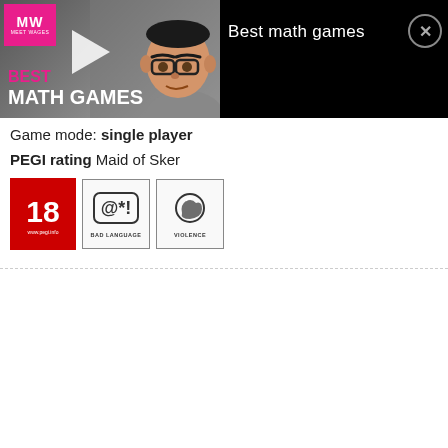[Figure (screenshot): Ad banner overlay showing 'Best math games' with a cartoon character, play button, MW logo, and close button on black background]
Game mode: single player
PEGI rating Maid of Sker
[Figure (illustration): PEGI 18 rating badge and two content descriptor icons: Bad Language and Violence]